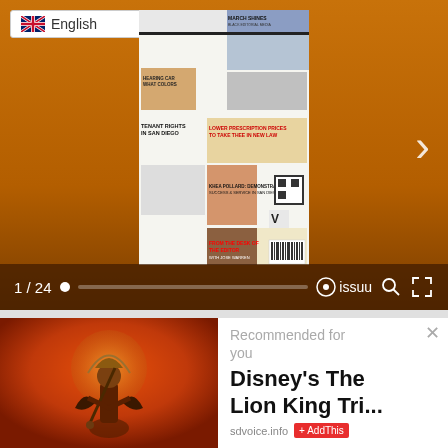[Figure (screenshot): Issuu digital magazine viewer showing newspaper front page with orange/brown background. Language selector showing English with UK flag in top-left. Navigation arrow on right. Bottom bar shows '1 / 24' page count with progress bar and issuu logo with search and fullscreen icons.]
[Figure (photo): Photo of a costumed performer from Disney's The Lion King musical, on a red/orange stage background.]
Recommended for you
Disney's The Lion King Tri...
sdvoice.info
AddThis